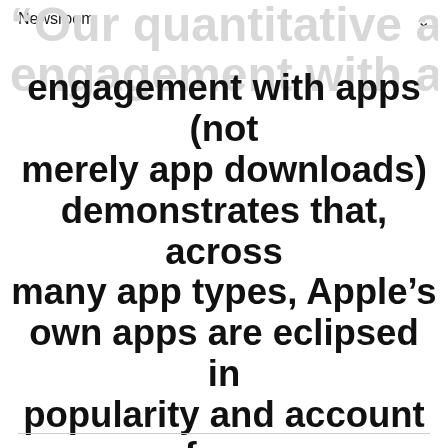Newsroom
“Our quantitative analyses of engagement with apps (not merely app downloads) demonstrates that, across many app types, Apple’s own apps are eclipsed in popularity and account for a relatively small share of usage.”
Juliette Caminade, Ph.D., Markus von Wartburg, Ph.D., Analysis Group